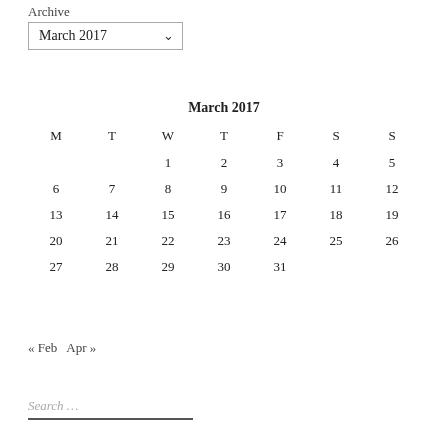Archive
[Figure (screenshot): Dropdown select widget showing 'March 2017' with a down arrow]
| M | T | W | T | F | S | S |
| --- | --- | --- | --- | --- | --- | --- |
|  |  | 1 | 2 | 3 | 4 | 5 |
| 6 | 7 | 8 | 9 | 10 | 11 | 12 |
| 13 | 14 | 15 | 16 | 17 | 18 | 19 |
| 20 | 21 | 22 | 23 | 24 | 25 | 26 |
| 27 | 28 | 29 | 30 | 31 |  |  |
« Feb   Apr »
Search…